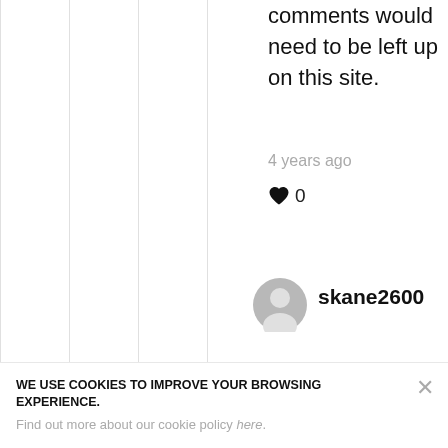comments would need to be left up on this site.
4 years ago
♥ 0
skane2600
You can't just assume what a business is required to deliver in exchange for a fee out of thin air. We all
WE USE COOKIES TO IMPROVE YOUR BROWSING EXPERIENCE. Find out more about our cookie policy here.